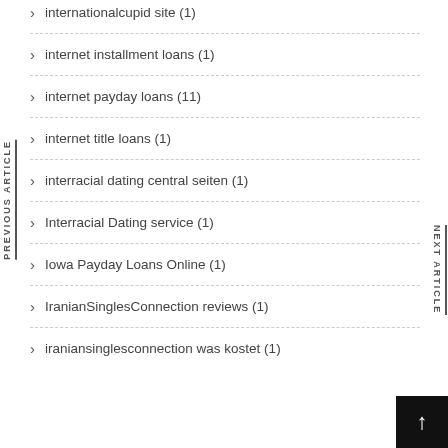internationalcupid site (1)
internet installment loans (1)
internet payday loans (11)
internet title loans (1)
interracial dating central seiten (1)
Interracial Dating service (1)
Iowa Payday Loans Online (1)
IranianSinglesConnection reviews (1)
iraniansinglesconnection was kostet (1)